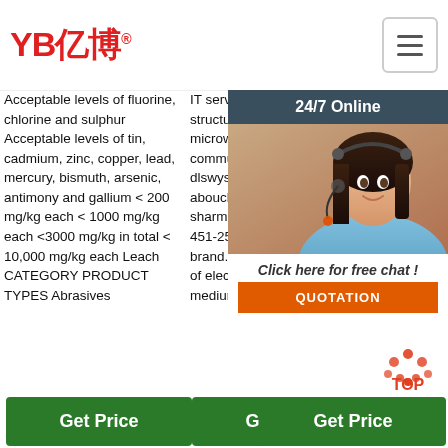[Figure (logo): YB亿博 logo in red with registered trademark symbol, and hamburger menu icon in top right]
Acceptable levels of fluorine, chlorine and sulphur Acceptable levels of tin, cadmium, zinc, copper, lead, mercury, bismuth, arsenic, antimony and gallium < 200 mg/kg each < 1000 mg/kg each <3000 mg/kg in total < 10,000 mg/kg each Leach CATEGORY PRODUCT TYPES Abrasives
IT services including structured cabling, microwave wireless, and communication towers. 3M. dlswystun@3M.com. aboucher-sharma@mmm.com. 519-451-2500. 226-926-4417. brand.3M.com. Manufacturer of electrical components of medium voltage terminations.
Antennas. Manufacturer of External Antennas, Communication Antennas, Antennas. is a technology company committed to customer-focused innovation, competitive innovative products and services. 4B Braime Components Ltd.
[Figure (photo): 24/7 Online customer service chat widget with photo of woman wearing headset, and orange QUOTATION button]
Get Price
Get Price
Get Price